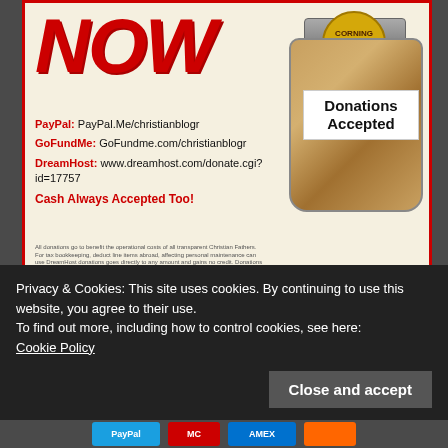[Figure (infographic): Donation banner with 'NOW' in large red text, a coin jar labeled 'Donations Accepted', and donation links for PayPal, GoFundMe, and DreamHost with fine print.]
Simple One Time Donation
Just a simple donation can help with the funding for this blog
Privacy & Cookies: This site uses cookies. By continuing to use this website, you agree to their use. To find out more, including how to control cookies, see here: Cookie Policy